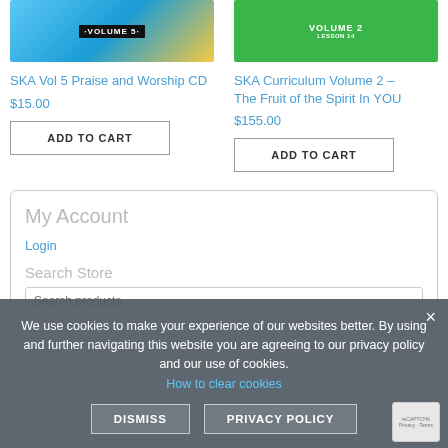[Figure (screenshot): Product image for SKA Vol 5 Praise and Worship CD - blue and yellow design with VOLUME 5 text]
SKA Vol 5 Praise and Worship CD
$15.00
ADD TO CART
[Figure (screenshot): Product image for SKA Curriculum Volume 2 - green design with VOLUME 2 text]
SKA Curriculum Volume 2 – The Fruit of the Spirit In YOU
$155.00
ADD TO CART
My Account
Login
Search Store
Search products...
We use cookies to make your experience of our websites better. By using and further navigating this website you are agreeing to our privacy policy and our use of cookies. How to clear cookies
DISMISS
PRIVACY POLICY